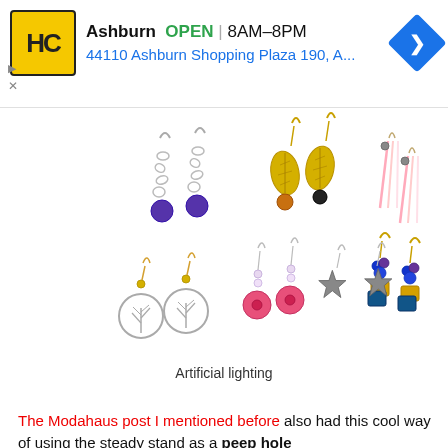[Figure (infographic): Ad banner for HC (Home Depot / hardware store) showing logo, Ashburn location, OPEN 8AM-8PM, address 44110 Ashburn Shopping Plaza 190, A..., and blue navigation arrow icon]
[Figure (photo): Multiple pairs of handmade earrings on white background: silver chain with purple bead earrings, gold leaf with amber bead earrings, pink/white feather-style earrings, silver tree-of-life with gold bead earrings, pink pearl bead earrings, silver star flower earrings, gold charm with blue bead earrings. Caption: Artificial lighting]
Artificial lighting
The Modahaus post I mentioned before also had this cool way of using the steady stand as a peep hole